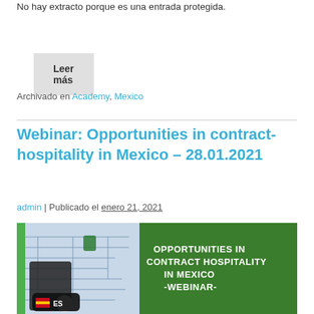No hay extracto porque es una entrada protegida.
Leer más
Archivado en Academy, Mexico
Webinar: Opportunities in contract-hospitality in Mexico – 28.01.2021
admin | Publicado el enero 21, 2021
[Figure (photo): Promotional image for a webinar on Opportunities in Contract Hospitality in Mexico, showing architectural plans and a grass background with white bold text reading OPPORTUNITIES IN CONTRACT HOSPITALITY IN MEXICO -WEBINAR- and a Spanish flag ES badge in the bottom left corner.]